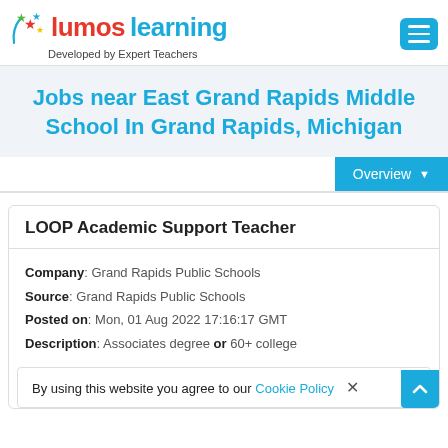Lumos Learning — Developed by Expert Teachers
Jobs near East Grand Rapids Middle School In Grand Rapids, Michigan
Overview
LOOP Academic Support Teacher
Company: Grand Rapids Public Schools
Source: Grand Rapids Public Schools
Posted on: Mon, 01 Aug 2022 17:16:17 GMT
Description: Associates degree or 60+ college
By using this website you agree to our Cookie Policy ×